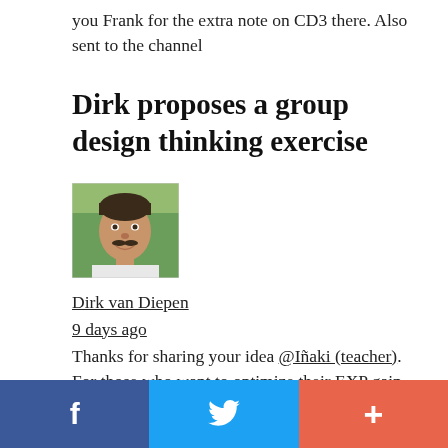you Frank for the extra note on CD3 there. Also sent to the channel
Dirk proposes a group design thinking exercise
[Figure (photo): Profile photo of Dirk van Diepen, a man with dark hair and a mustache, smiling, outdoors with green background]
Dirk van Diepen
9 days ago
Thanks for sharing your idea @Iñaki (teacher). For those who want to optimize their EXP gain with potion planning it would indeed save some time to have it listed directly at the quests.
f  (Twitter bird icon)  +